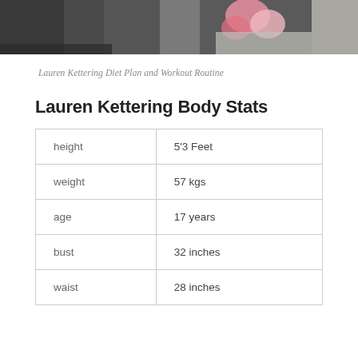[Figure (photo): Partial photo of Lauren Kettering, showing flowers and figure in the upper portion of the page]
Lauren Kettering Diet Plan and Workout Routine
Lauren Kettering Body Stats
| height | 5'3 Feet |
| weight | 57 kgs |
| age | 17 years |
| bust | 32 inches |
| waist | 28 inches |